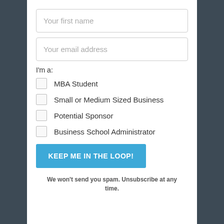Your first name
Your email address
I'm a:
MBA Student
Small or Medium Sized Business
Potential Sponsor
Business School Administrator
KEEP ME IN THE LOOP!
We won't send you spam. Unsubscribe at any time.